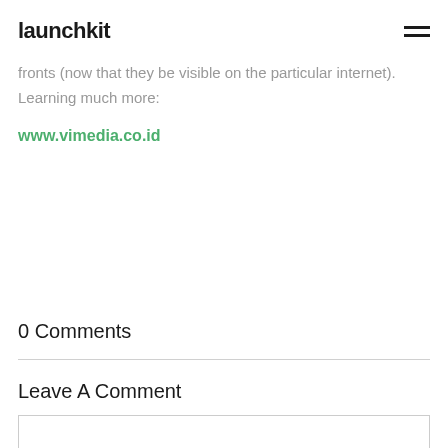launchkit
fronts (now that they be visible on the particular internet). Learning much more:
www.vimedia.co.id
0 Comments
Leave A Comment